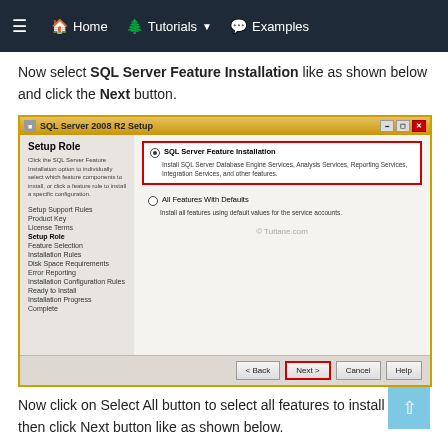≡  🏠 Home    🌲 Tutorials ▼    💬 Examples
Now select SQL Server Feature Installation like as shown below and click the Next button.
[Figure (screenshot): SQL Server 2008 R2 Setup window showing the Setup Role step. 'SQL Server Feature Installation' option is selected and highlighted with a red border. A 'Next >' button at the bottom is also highlighted with a red border. Left sidebar lists steps: Setup Support Rules, Product Key, License Terms, Setup Role (bold), Feature Selection, Installation Rules, Disk Space Requirements, Error Reporting, Installation Configuration Rules, Ready to Install, Installation Progress, Complete.]
Now click on Select All button to select all features to install and then click Next button like as shown below.